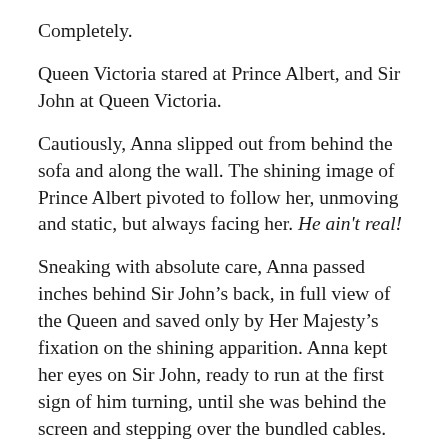Completely.
Queen Victoria stared at Prince Albert, and Sir John at Queen Victoria.
Cautiously, Anna slipped out from behind the sofa and along the wall. The shining image of Prince Albert pivoted to follow her, unmoving and static, but always facing her. He ain't real!
Sneaking with absolute care, Anna passed inches behind Sir John’s back, in full view of the Queen and saved only by Her Majesty’s fixation on the shining apparition. Anna kept her eyes on Sir John, ready to run at the first sign of him turning, until she was behind the screen and stepping over the bundled cables.
Charlie. Daniel. Jacob.
He d the r st and his r d b i